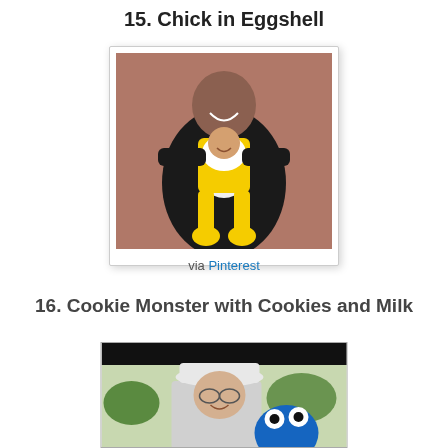15. Chick in Eggshell
[Figure (photo): A man in black holding a baby dressed in a yellow chick in eggshell Halloween costume, displayed in a polaroid-style card with a 'via Pinterest' caption below.]
via Pinterest
16. Cookie Monster with Cookies and Milk
[Figure (photo): A woman wearing a white hat and glasses, smiling outdoors, holding a Cookie Monster plush toy, partial view at bottom of page.]